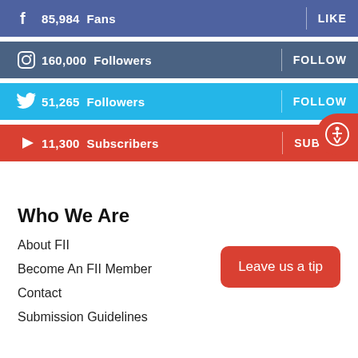85,984 Fans | LIKE
160,000 Followers | FOLLOW
51,265 Followers | FOLLOW
11,300 Subscribers | SUBSCRIBE
Who We Are
About FII
Become An FII Member
Contact
Submission Guidelines
Leave us a tip